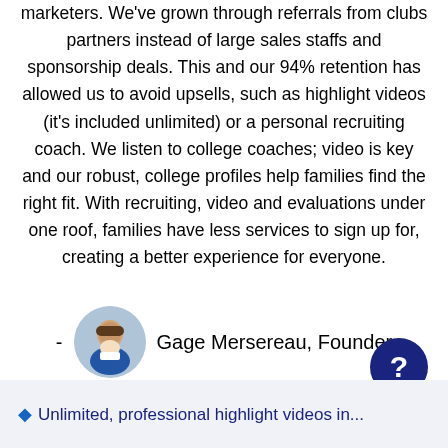marketers. We've grown through referrals from clubs partners instead of large sales staffs and sponsorship deals. This and our 94% retention has allowed us to avoid upsells, such as highlight videos (it's included unlimited) or a personal recruiting coach. We listen to college coaches; video is key and our robust, college profiles help families find the right fit. With recruiting, video and evaluations under one roof, families have less services to sign up for, creating a better experience for everyone.
[Figure (photo): Circular headshot photo of Gage Mersereau, Founder, alongside the text '- Gage Mersereau, Founder']
[Figure (illustration): Dark navy circular help/question mark button in the bottom right corner]
Unlimited, professional highlight videos in...